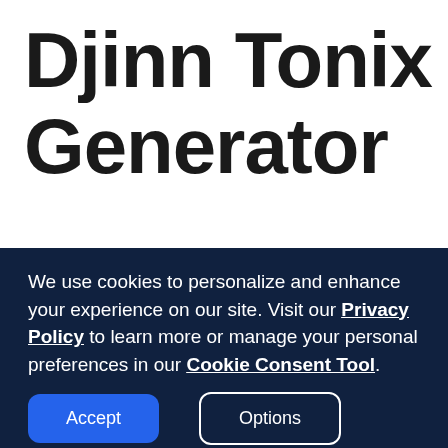Djinn Tonix Generator
We use cookies to personalize and enhance your experience on our site. Visit our Privacy Policy to learn more or manage your personal preferences in our Cookie Consent Tool.